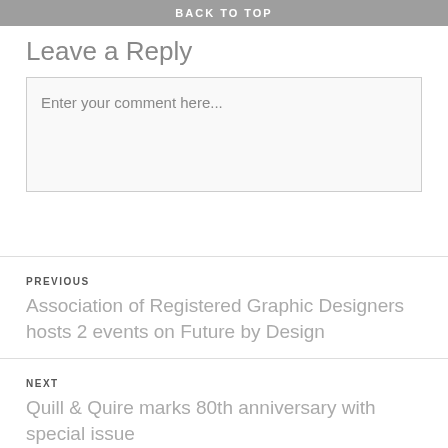BACK TO TOP
Leave a Reply
Enter your comment here...
PREVIOUS
Association of Registered Graphic Designers hosts 2 events on Future by Design
NEXT
Quill & Quire marks 80th anniversary with special issue